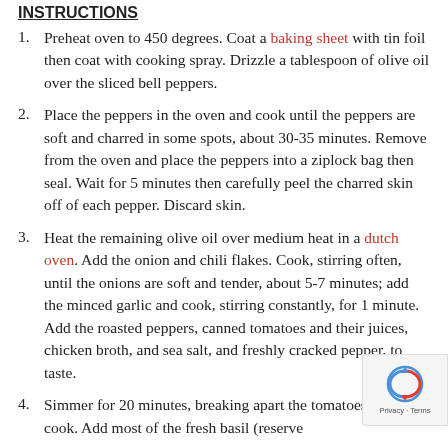Preheat oven to 450 degrees. Coat a baking sheet with tin foil then coat with cooking spray. Drizzle a tablespoon of olive oil over the sliced bell peppers.
Place the peppers in the oven and cook until the peppers are soft and charred in some spots, about 30-35 minutes. Remove from the oven and place the peppers into a ziplock bag then seal. Wait for 5 minutes then carefully peel the charred skin off of each pepper. Discard skin.
Heat the remaining olive oil over medium heat in a dutch oven. Add the onion and chili flakes. Cook, stirring often, until the onions are soft and tender, about 5-7 minutes; add the minced garlic and cook, stirring constantly, for 1 minute. Add the roasted peppers, canned tomatoes and their juices, chicken broth, and sea salt, and freshly cracked pepper, to taste.
Simmer for 20 minutes, breaking apart the tomatoes as they cook. Add most of the fresh basil (reserve